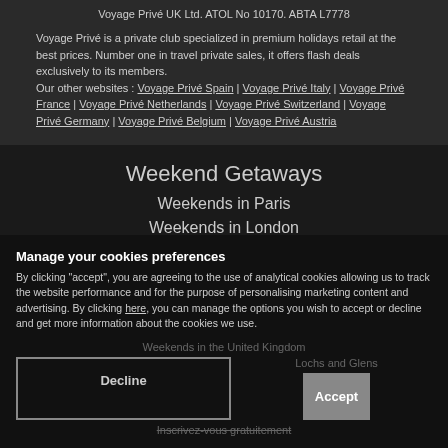Voyage Privé UK Ltd. ATOL No 10170. ABTA L7778
Voyage Privé is a private club specialized in premium holidays retail at the best prices. Number one in travel private sales, it offers flash deals exclusively to its members. Our other websites : Voyage Privé Spain | Voyage Privé Italy | Voyage Privé France | Voyage Privé Netherlands | Voyage Privé Switzerland | Voyage Privé Germany | Voyage Privé Belgium | Voyage Privé Austria
Weekend Getaways
Weekends in Paris
Weekends in London
Weekend Breaks in Europe
Weekends in the United Kingdom
Lochs and Glens
Inscrivez-vous gratuitement
Manage your cookies preferences
By clicking "accept", you are agreeing to the use of analytical cookies allowing us to track the website performance and for the purpose of personalising marketing content and advertising. By clicking here, you can manage the options you wish to accept or decline and get more information about the cookies we use.